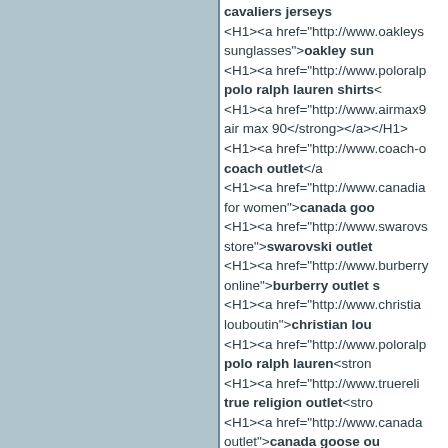<strong>cavaliers jerseys</strong> <H1><a href="http://www.oakleys sunglasses"><strong>oakley sunglasses</strong> <H1><a href="http://www.poloralp <strong>polo ralph lauren shirts</strong> <H1><a href="http://www.airmax9 air max 90</strong></a></H1> <H1><a href="http://www.coach-o <strong>coach outlet</strong></a> <H1><a href="http://www.canadia for women"><strong>canada goo <H1><a href="http://www.swarovs store"><strong>swarovski outlet <H1><a href="http://www.burberry online"><strong>burberry outlet s <H1><a href="http://www.christia louboutin"><strong>christian lou <H1><a href="http://www.poloralp <strong>polo ralph lauren</strong> <H1><a href="http://www.truereli <strong>true religion outlet</strong> <H1><a href="http://www.canada outlet"><strong>canada goose ou <H1><a href="http://www.hermes <strong>hermes outlet</strong> <H1><a href="http://www.bottega <strong>bottega veneta outlet</strong> <H1><a href="http://www.basketb